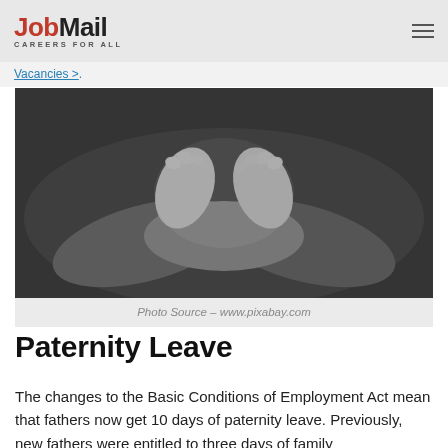JobMail CAREERS FOR ALL
Vacancies >.
[Figure (photo): Black and white close-up photograph of adult hands cradling two newborn baby feet forming a heart shape.]
Photo Source – www.pixabay.com
Paternity Leave
The changes to the Basic Conditions of Employment Act mean that fathers now get 10 days of paternity leave. Previously, new fathers were entitled to three days of family